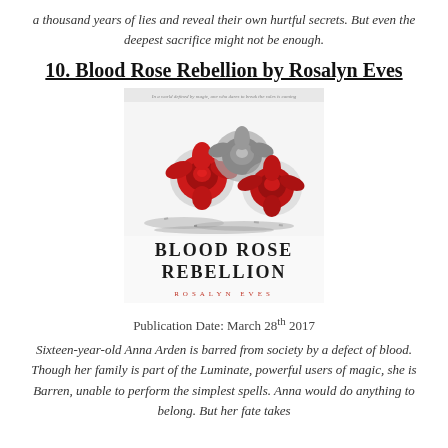a thousand years of lies and reveal their own hurtful secrets. But even the deepest sacrifice might not be enough.
10. Blood Rose Rebellion by Rosalyn Eves
[Figure (photo): Book cover of Blood Rose Rebellion by Rosalyn Eves, showing red and grey roses with the title text BLOOD ROSE REBELLION and author name ROSALYN EVES]
Publication Date: March 28th 2017
Sixteen-year-old Anna Arden is barred from society by a defect of blood. Though her family is part of the Luminate, powerful users of magic, she is Barren, unable to perform the simplest spells. Anna would do anything to belong. But her fate takes